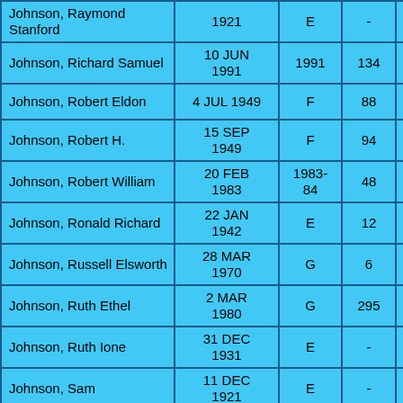| Johnson, Raymond Stanford | 1921 | E | - | 115 |
| Johnson, Richard Samuel | 10 JUN 1991 | 1991 | 134 | - |
| Johnson, Robert Eldon | 4 JUL 1949 | F | 88 | 7 |
| Johnson, Robert H. | 15 SEP 1949 | F | 94 | 1 |
| Johnson, Robert William | 20 FEB 1983 | 1983-84 | 48 | - |
| Johnson, Ronald Richard | 22 JAN 1942 | E | 12 | D |
| Johnson, Russell Elsworth | 28 MAR 1970 | G | 6 | 6 |
| Johnson, Ruth Ethel | 2 MAR 1980 | G | 295 | 1 |
| Johnson, Ruth Ione | 31 DEC 1931 | E | - | 116 |
| Johnson, Sam | 11 DEC 1921 | E | - | 118 |
| Johnson, Samuel Edwin | 12 FEB 1952 | F | 160 | 6 |